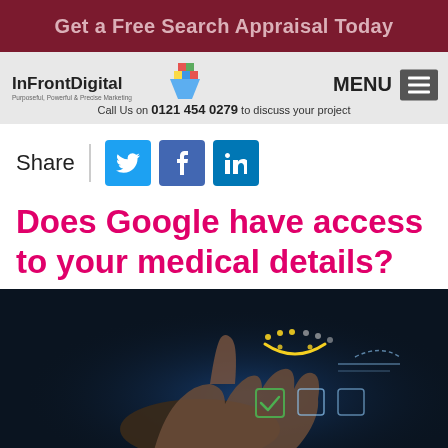Get a Free Search Appraisal Today
[Figure (screenshot): InFrontDigital logo with colorful diamond/arrow graphic, navigation bar with MENU and hamburger icon, call us on 0121 454 0279 to discuss your project]
Share
[Figure (infographic): Social share buttons: Twitter (blue bird icon), Facebook (f icon), LinkedIn (in icon)]
Does Google have access to your medical details?
[Figure (photo): Dark background photo of a hand with holographic digital interface elements including a smiley face arc, checkmark icon, and other UI elements glowing in blue]